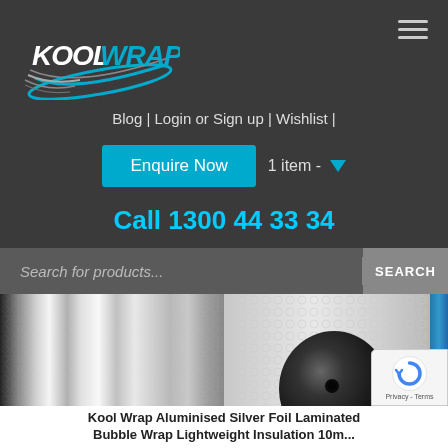[Figure (logo): Kool Wrap logo with swoosh graphic in blue/silver on dark background]
Blog | Login or Sign up | Wishlist |
Enquire Now
1 item -
Call 1300 44 33 34
Search for products...
SEARCH
[Figure (photo): Kool Wrap aluminised silver foil laminated bubble wrap insulation product rolls and sheets]
Kool Wrap Aluminised Silver Foil Laminated Bubble Wrap Lightweight Insulation 10m...